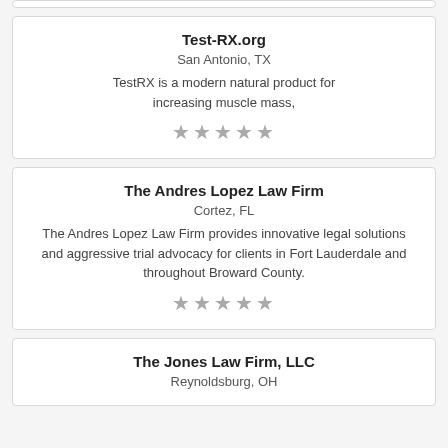Test-RX.org
San Antonio, TX
TestRX is a modern natural product for increasing muscle mass,
[Figure (other): Five star rating (empty/outline stars)]
The Andres Lopez Law Firm
Cortez, FL
The Andres Lopez Law Firm provides innovative legal solutions and aggressive trial advocacy for clients in Fort Lauderdale and throughout Broward County.
[Figure (other): Five star rating (empty/outline stars)]
The Jones Law Firm, LLC
Reynoldsburg, OH